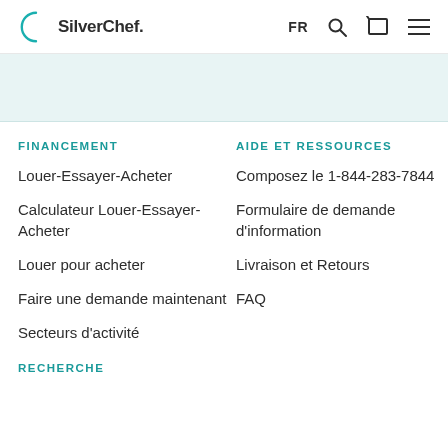[Figure (logo): SilverChef logo with teal circular arc on the left and bold text 'SilverChef.' on the right]
FINANCEMENT
Louer-Essayer-Acheter
Calculateur Louer-Essayer-Acheter
Louer pour acheter
Faire une demande maintenant
Secteurs d'activité
AIDE ET RESSOURCES
Composez le 1-844-283-7844
Formulaire de demande d'information
Livraison et Retours
FAQ
RECHERCHE